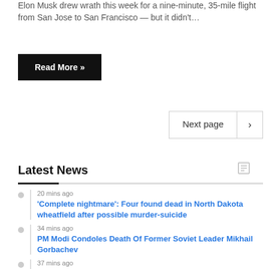Elon Musk drew wrath this week for a nine-minute, 35-mile flight from San Jose to San Francisco — but it didn't…
Read More »
Next page
Latest News
20 mins ago — 'Complete nightmare': Four found dead in North Dakota wheatfield after possible murder-suicide
34 mins ago — PM Modi Condoles Death Of Former Soviet Leader Mikhail Gorbachev
37 mins ago — "The september collapse is no more we have vinny nittoli!!" "Not gonna help them" – Philadelphia Phillies fans divided after team acquires reliever Vinny Nittoli from Toronto Blue